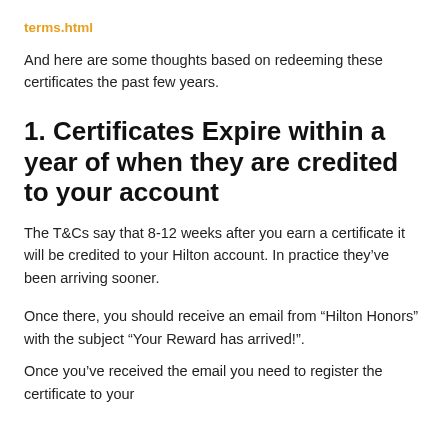terms.html
And here are some thoughts based on redeeming these certificates the past few years.
1. Certificates Expire within a year of when they are credited to your account
The T&Cs say that 8-12 weeks after you earn a certificate it will be credited to your Hilton account. In practice they've been arriving sooner.
Once there, you should receive an email from “Hilton Honors” with the subject “Your Reward has arrived!”.
Once you’ve received the email you need to register the certificate to your